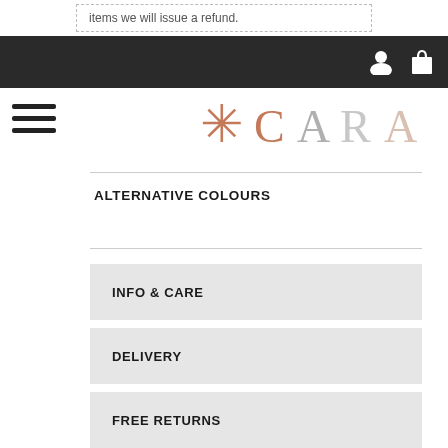items we will issue a refund.
CARA (navigation bar with user and cart icons)
[Figure (logo): CARA brand logo with asterisk symbol in rose gold and grey letters]
ALTERNATIVE COLOURS
INFO & CARE
DELIVERY
FREE RETURNS
SIZE CHART